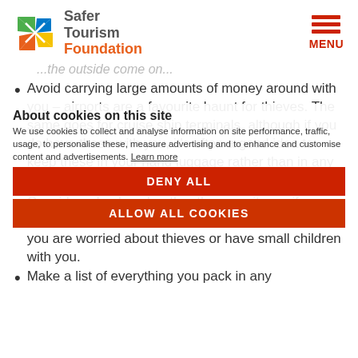[Figure (logo): Safer Tourism Foundation logo with colourful pinwheel icon and orange/grey text]
...the outside come on...
Avoid carrying large amounts of money around with you – airports are a favourite haunt for thieves. The same goes for cruise ship terminals, although if you do have these with you, it's often a good idea to keep these in your hand luggage rather than in any luggage you plan to put in the aircraft hold.
About cookies on this site
We use cookies to collect and analyse information on site performance, traffic, usage, to personalise these, measure advertising and to enhance and customise content and advertisements. Learn more
DENY ALL
Consider a backpack rather than a suitcase if you want to keep your hands free. This can be handy if you are worried about thieves or have small children with you.
ALLOW ALL COOKIES
Make a list of everything you pack in any luggage, as a record in the hold for insurance if it gets lost.